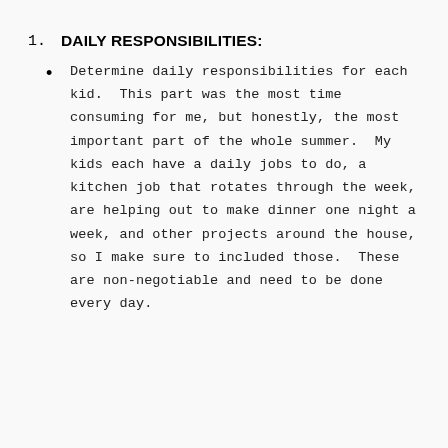1.  DAILY RESPONSIBILITIES:
Determine daily responsibilities for each kid.  This part was the most time consuming for me, but honestly, the most important part of the whole summer.  My kids each have a daily jobs to do, a kitchen job that rotates through the week, are helping out to make dinner one night a week, and other projects around the house, so I make sure to included those.  These are non-negotiable and need to be done every day.